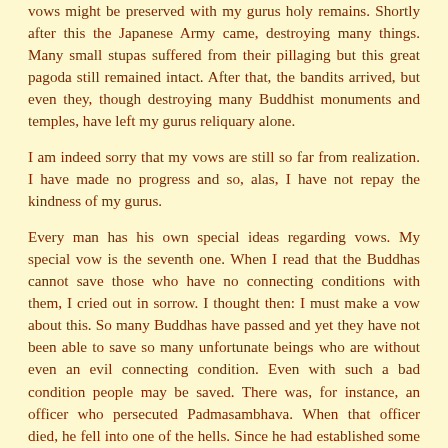vows might be preserved with my gurus holy remains. Shortly after this the Japanese Army came, destroying many things. Many small stupas suffered from their pillaging but this great pagoda still remained intact. After that, the bandits arrived, but even they, though destroying many Buddhist monuments and temples, have left my gurus reliquary alone.
I am indeed sorry that my vows are still so far from realization. I have made no progress and so, alas, I have not repay the kindness of my gurus.
Every man has his own special ideas regarding vows. My special vow is the seventh one. When I read that the Buddhas cannot save those who have no connecting conditions with them, I cried out in sorrow. I thought then: I must make a vow about this. So many Buddhas have passed and yet they have not been able to save so many unfortunate beings who are without even an evil connecting condition. Even with such a bad condition people may be saved. There was, for instance, an officer who persecuted Padmasambhava. When that officer died, he fell into one of the hells. Since he had established some connection, evil though it was, Yeshe Tsogyal, Padmasambhavas consort, when she found out he was in hell, was able to rescue the unfortunate officer and effect his salvation. A good condition is good; a bad condition is better than none. An aspiration to save those with no condition is not to be found among the ancient vows. Certainly, there are many